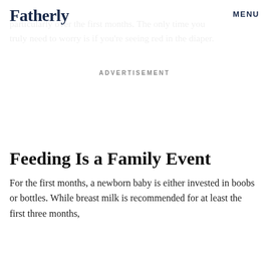Fatherly   MENU
particularly over the first months. The only time you truly need to worry is if you're seeing red in the diaper.
ADVERTISEMENT
Feeding Is a Family Event
For the first months, a newborn baby is either invested in boobs or bottles. While breast milk is recommended for at least the first three months,